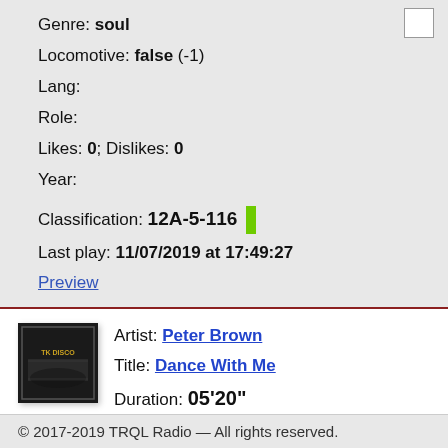Genre: soul
Locomotive: false (-1)
Lang:
Role:
Likes: 0; Dislikes: 0
Year:
Classification: 12A-5-116
Last play: 11/07/2019 at 17:49:27
Preview
Artist: Peter Brown
Title: Dance With Me
Duration: 05'20"
Quarantine: 73 days
© 2017-2019 TRQL Radio — All rights reserved.